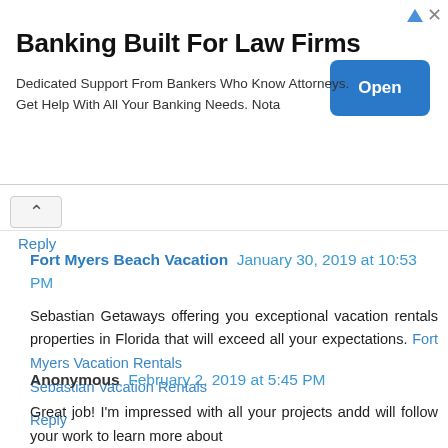[Figure (other): Advertisement banner for banking services targeting law firms. Title: Banking Built For Law Firms. Body: Dedicated Support From Bankers Who Know Attorneys. Get Help With All Your Banking Needs. Nota. Button: Open. Ad icons (triangle and X) in top right.]
Reply
Fort Myers Beach Vacation  January 30, 2019 at 10:53 PM
Sebastian Getaways offering you exceptional vacation rentals properties in Florida that will exceed all your expectations. Fort Myers Vacation Rentals Sebastian Vacation Rentals
Reply
Anonymous  February 2, 2019 at 5:45 PM
Great job! I'm impressed with all your projects andd will follow your work to learn more about